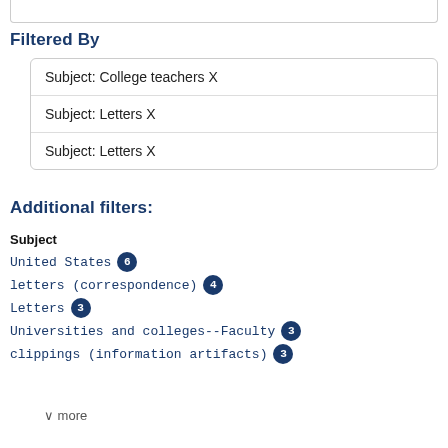Filtered By
Subject: College teachers X
Subject: Letters X
Subject: Letters X
Additional filters:
Subject
United States 6
letters (correspondence) 4
Letters 3
Universities and colleges--Faculty 3
clippings (information artifacts) 3
∨ more